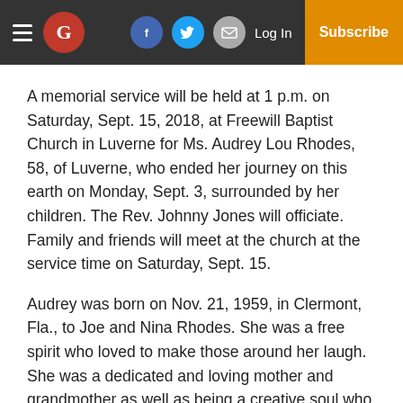The Greenville Advocate — Log In | Subscribe
A memorial service will be held at 1 p.m. on Saturday, Sept. 15, 2018, at Freewill Baptist Church in Luverne for Ms. Audrey Lou Rhodes, 58, of Luverne, who ended her journey on this earth on Monday, Sept. 3, surrounded by her children. The Rev. Johnny Jones will officiate. Family and friends will meet at the church at the service time on Saturday, Sept. 15.
Audrey was born on Nov. 21, 1959, in Clermont, Fla., to Joe and Nina Rhodes. She was a free spirit who loved to make those around her laugh. She was a dedicated and loving mother and grandmother as well as being a creative soul who loved to sew and